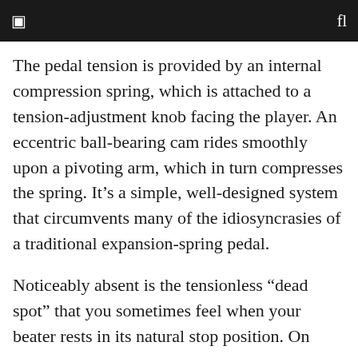The pedal tension is provided by an internal compression spring, which is attached to a tension-adjustment knob facing the player. An eccentric ball-bearing cam rides smoothly upon a pivoting arm, which in turn compresses the spring. It’s a simple, well-designed system that circumvents many of the idiosyncrasies of a traditional expansion-spring pedal.
Noticeably absent is the tensionless “dead spot” that you sometimes feel when your beater rests in its natural stop position. On